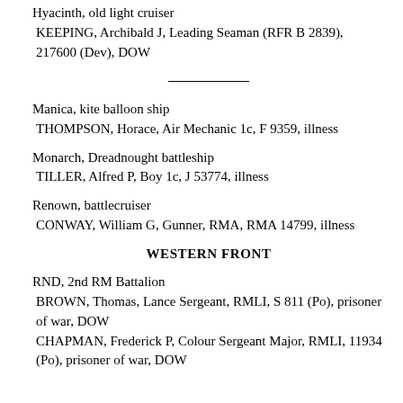Hyacinth, old light cruiser
KEEPING, Archibald J, Leading Seaman (RFR B 2839), 217600 (Dev), DOW
Manica, kite balloon ship
THOMPSON, Horace, Air Mechanic 1c, F 9359, illness
Monarch, Dreadnought battleship
TILLER, Alfred P, Boy 1c, J 53774, illness
Renown, battlecruiser
CONWAY, William G, Gunner, RMA, RMA 14799, illness
WESTERN FRONT
RND, 2nd RM Battalion
BROWN, Thomas, Lance Sergeant, RMLI, S 811 (Po), prisoner of war, DOW
CHAPMAN, Frederick P, Colour Sergeant Major, RMLI, 11934 (Po), prisoner of war, DOW